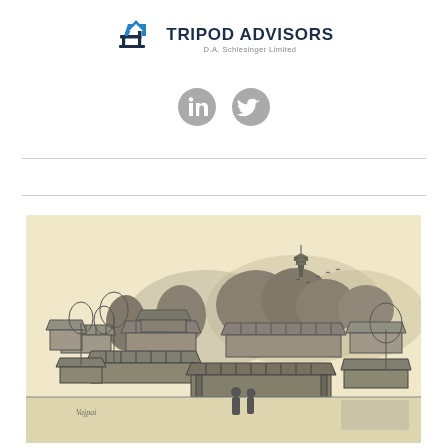[Figure (logo): Tripod Advisors logo with house/arrow icon and tagline D.A. Schlesinger Limited]
[Figure (illustration): LinkedIn and Twitter social media icons as grey circles with white symbols]
[Figure (illustration): Black and white pen-and-ink illustration of a traditional Japanese temple complex with pagoda, rooftops, trees, hills, and two figures in robes in the foreground on a cream/beige background]